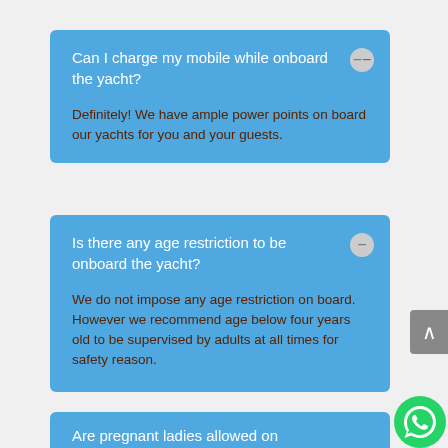Can I charge my mobile while onboard the yacht?
Definitely! We have ample power points on board our yachts for you and your guests.
Is there any age restriction to be onboard the yacht?
We do not impose any age restriction on board. However we recommend age below four years old to be supervised by adults at all times for safety reason.
Are pregnant ladies allowed on